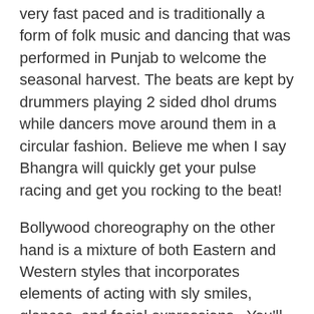very fast paced and is traditionally a form of folk music and dancing that was performed in Punjab to welcome the seasonal harvest. The beats are kept by drummers playing 2 sided dhol drums while dancers move around them in a circular fashion. Believe me when I say Bhangra will quickly get your pulse racing and get you rocking to the beat!
Bollywood choreography on the other hand is a mixture of both Eastern and Western styles that incorporates elements of acting with sly smiles, glances, and facial expressions.  You'll quickly notice how animated professional Bollywood dancers are.  The intricate finger movements, jumps, turns, and hip shakes will keep you smiling as you get in shape.